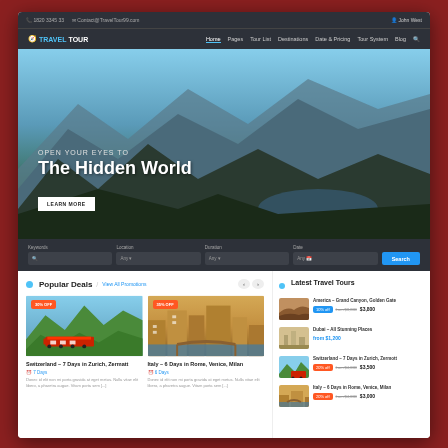[Figure (screenshot): Travel Tour website screenshot showing hero section with mountain landscape, navigation bar, search form, popular deals cards, and latest travel tours sidebar]
1820 3345 33   Contact@TravelTour99.com
TRAVEL TOUR — Home  Pages  Tour List  Destinations  Date & Pricing  Tour System  Blog
OPEN YOUR EYES TO
The Hidden World
LEARN MORE
Keywords  Location  Duration  Date  Search
Popular Deals / View All Promotions
Switzerland – 7 Days in Zurich, Zermatt
7 Days
Donec id elit non mi porta gravida at eget metus. Nulla vitae elit libero, a pharetra augue. Vitam porta sem [...]
Italy – 6 Days in Rome, Venice, Milan
6 Days
Donec id elit non mi porta gravida at eget metus. Nulla vitae elit libero, a pharetra augue. Vitam porta sem [...]
Latest Travel Tours
America – Grand Canyon, Golden Gate
10% off   from $3,800   $3,800
Dubai – All Stunning Places
from $1,200
Switzerland – 7 Days in Zurich, Zermott
20% off   from $4,000   $3,500
Italy – 6 Days in Rome, Venice, Milan
20% off   from $4,000   $3,000